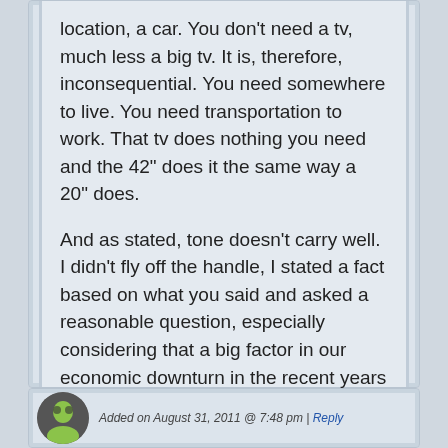location, a car. You don't need a tv, much less a big tv. It is, therefore, inconsequential. You need somewhere to live. You need transportation to work. That tv does nothing you need and the 42" does it the same way a 20" does.
And as stated, tone doesn't carry well. I didn't fly off the handle, I stated a fact based on what you said and asked a reasonable question, especially considering that a big factor in our economic downturn in the recent years was because people were living beyond their means on a credit bubble. Don't look down on someone who understands living poor and don't do it til you know what the words they are using mean.
Added on August 31, 2011 @ 7:48 pm | Reply